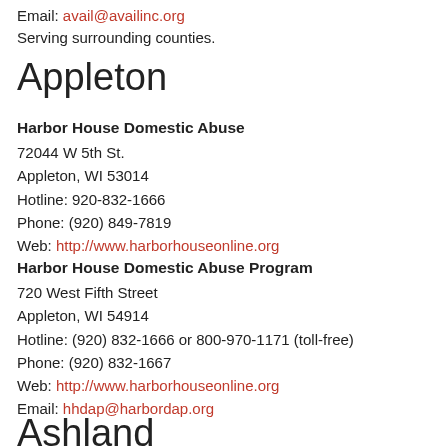Email: avail@availinc.org
Serving surrounding counties.
Appleton
Harbor House Domestic Abuse
72044 W 5th St.
Appleton, WI 53014
Hotline: 920-832-1666
Phone: (920) 849-7819
Web: http://www.harborhouseonline.org
Harbor House Domestic Abuse Program
720 West Fifth Street
Appleton, WI 54914
Hotline: (920) 832-1666 or 800-970-1171 (toll-free)
Phone: (920) 832-1667
Web: http://www.harborhouseonline.org
Email: hhdap@harbordap.org
Ashland